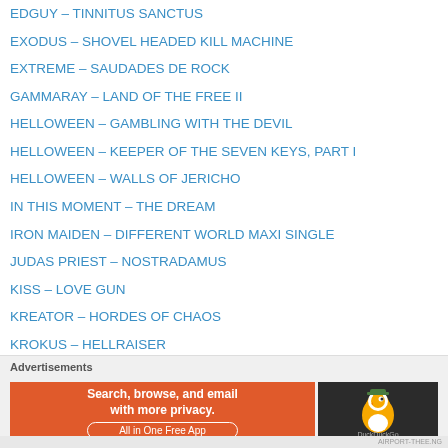EDGUY – TINNITUS SANCTUS
EXODUS – SHOVEL HEADED KILL MACHINE
EXTREME – SAUDADES DE ROCK
GAMMARAY – LAND OF THE FREE II
HELLOWEEN – GAMBLING WITH THE DEVIL
HELLOWEEN – KEEPER OF THE SEVEN KEYS, PART I
HELLOWEEN – WALLS OF JERICHO
IN THIS MOMENT – THE DREAM
IRON MAIDEN – DIFFERENT WORLD MAXI SINGLE
JUDAS PRIEST – NOSTRADAMUS
KISS – LOVE GUN
KREATOR – HORDES OF CHAOS
KROKUS – HELLRAISER
LIZZY BORDEN – APPOINTMENT WITH DEATH
LYNCH MOB – WICKED SENSATION
METAL CHURCH – THE DARK
[Figure (screenshot): DuckDuckGo advertisement banner with text: Search, browse, and email with more privacy. All in One Free App, with DuckDuckGo logo on dark background]
AIRPORT-THEE.NG